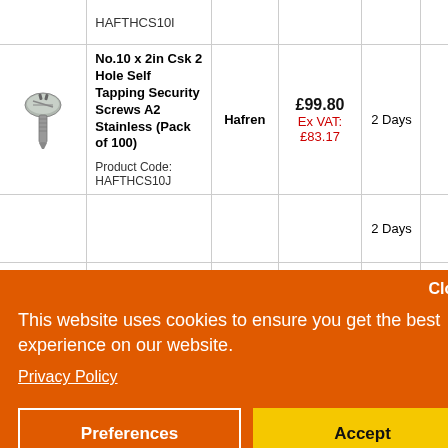| Image | Product | Brand | Price | Delivery | Action |
| --- | --- | --- | --- | --- | --- |
|  | HAFTHCS10I |  |  |  |  |
| [screw image] | No.10 x 2in Csk 2 Hole Self Tapping Security Screws A2 Stainless (Pack of 100)
Product Code: HAFTHCS10J | Hafren | £99.80
Ex VAT: £83.17 | 2 Days |  |
|  |  |  |  | 2 Days |  |
|  | No.12 x 1in |  |  |  |  |
Close
This website uses cookies to ensure you get the best experience on our website.
Privacy Policy
Preferences
Accept